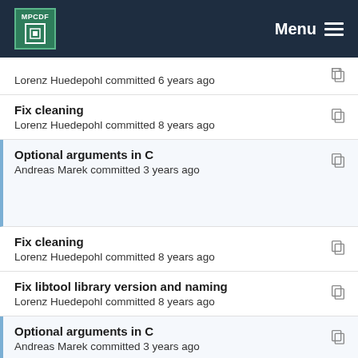MPCDF Menu
Lorenz Huedepohl committed 6 years ago
Fix cleaning
Lorenz Huedepohl committed 8 years ago
Optional arguments in C
Andreas Marek committed 3 years ago
Fix cleaning
Lorenz Huedepohl committed 8 years ago
Fix libtool library version and naming
Lorenz Huedepohl committed 8 years ago
Optional arguments in C
Andreas Marek committed 3 years ago
Make ELPA ready for packaging as RPM
Lorenz Huedepohl committed 8 years ago